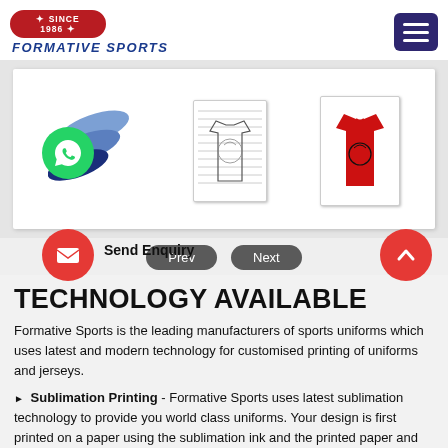[Figure (logo): Formative Sports logo with 'Since 1986' badge in red and italic bold blue text]
[Figure (screenshot): Slider/carousel showing a blue layered swoosh logo, a lined notepad with sports jersey outline sketch, and a red jersey on white paper, on a light grey background]
[Figure (other): Prev and Next navigation buttons for the slider]
TECHNOLOGY AVAILABLE
Formative Sports is the leading manufacturers of sports uniforms which uses latest and modern technology for customised printing of uniforms and jerseys.
Sublimation Printing - Formative Sports uses latest sublimation technology to provide you world class uniforms. Your design is first printed on a paper using the sublimation ink and the printed paper and fabric are fused together under high
[Figure (other): WhatsApp floating button (green circle with phone icon)]
[Figure (other): Email/Send Enquiry floating button (red circle with envelope icon) with 'Send Enquiry' label]
[Figure (other): Scroll to top floating button (red circle with up chevron)]